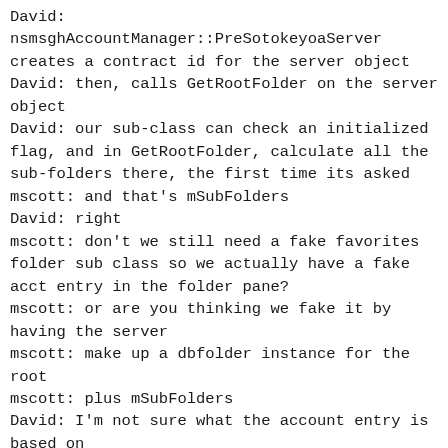David: nsmsghAccountManager::PreSotokeyoaServer creates a contract id for the server object
David: then, calls GetRootFolder on the server object
David: our sub-class can check an initialized flag, and in GetRootFolder, calculate all the sub-folders there, the first time its asked
mscott: and that's mSubFolders
David: right
mscott: don't we still need a fake favorites folder sub class so we actually have a fake acct entry in the folder pane?
mscott: or are you thinking we fake it by having the server
mscott: make up a dbfolder instance for the root
mscott: plus mSubFolders
David: I'm not sure what the account entry is based on